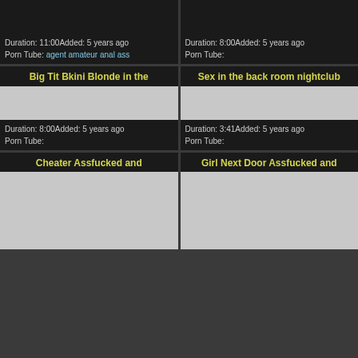Duration: 11:00Added: 5 years ago
Porn Tube: agent amateur anal ass
Duration: 8:00Added: 5 years ago
Porn Tube:
Big Tit Bkini Blonde in the
[Figure (photo): Video thumbnail placeholder]
Duration: 8:00Added: 5 years ago
Porn Tube:
Sex in the back room nightclub
[Figure (photo): Video thumbnail placeholder]
Duration: 3:41Added: 5 years ago
Porn Tube:
Cheater Assfucked and
Girl Next Door Assfucked and
[Figure (photo): Video thumbnail placeholder partial]
[Figure (photo): Video thumbnail placeholder partial]